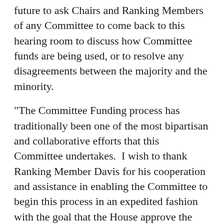future to ask Chairs and Ranking Members of any Committee to come back to this hearing room to discuss how Committee funds are being used, or to resolve any disagreements between the majority and the minority.
"The Committee Funding process has traditionally been one of the most bipartisan and collaborative efforts that this Committee undertakes.  I wish to thank Ranking Member Davis for his cooperation and assistance in enabling the Committee to begin this process in an expedited fashion with the goal that the House approve the funding resolution prior to the expiration of the interim funding authorization on March 31st.
"Considering this agreement and the short time that remains to us to fund our Committees for this